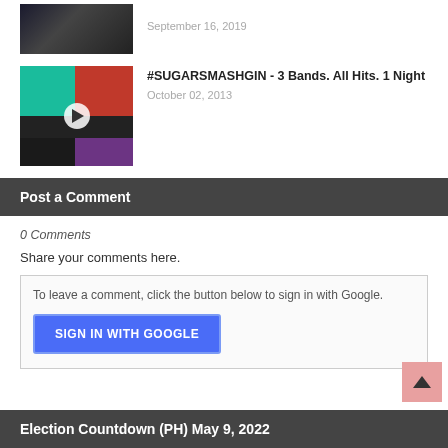[Figure (photo): Thumbnail image of a music act, dark background]
September 16, 2019
[Figure (photo): Thumbnail image with teal, red, purple panels and a play button overlay]
#SUGARSMASHGIN - 3 Bands. All Hits. 1 Night
October 02, 2013
Post a Comment
0 Comments
Share your comments here.
To leave a comment, click the button below to sign in with Google.
SIGN IN WITH GOOGLE
Election Countdown (PH) May 9, 2022